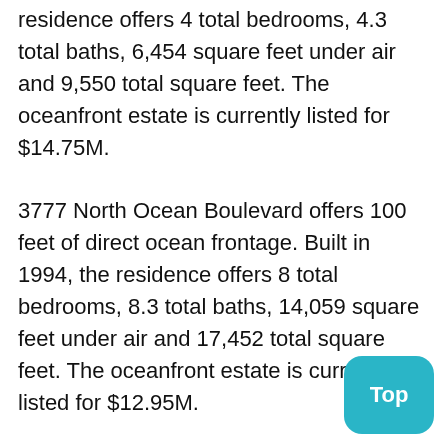residence offers 4 total bedrooms, 4.3 total baths, 6,454 square feet under air and 9,550 total square feet. The oceanfront estate is currently listed for $14.75M.
3777 North Ocean Boulevard offers 100 feet of direct ocean frontage. Built in 1994, the residence offers 8 total bedrooms, 8.3 total baths, 14,059 square feet under air and 17,452 total square feet. The oceanfront estate is currently listed for $12.95M.
3813 North Ocean Boulevard offers 100 feet of direct ocean frontage. Built in 2001 and completely renovated in 2015, the residence offers 5 total bedrooms, 5.2 total baths, 5,0[truncated] square feet under air and 9,350 total square feet.